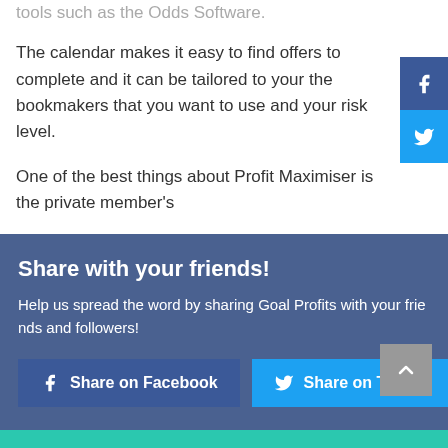tools such as the Odds Software.
The calendar makes it easy to find offers to complete and it can be tailored to your the bookmakers that you want to use and your risk level.
One of the best things about Profit Maximiser is the private member's
[Figure (infographic): Facebook and Twitter social share sidebar icons on right edge]
Share with your friends!
Help us spread the word by sharing Goal Profits with your friends and followers!
Share on Facebook  Share on Twitter